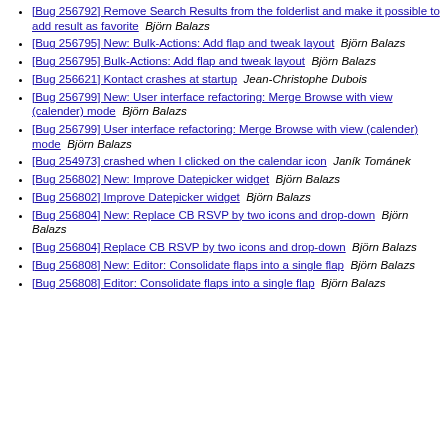[Bug 256792] Remove Search Results from the folderlist and make it possible to add result as favorite  Björn Balazs
[Bug 256795] New: Bulk-Actions: Add flap and tweak layout  Björn Balazs
[Bug 256795] Bulk-Actions: Add flap and tweak layout  Björn Balazs
[Bug 256621] Kontact crashes at startup  Jean-Christophe Dubois
[Bug 256799] New: User interface refactoring: Merge Browse with view (calender) mode  Björn Balazs
[Bug 256799] User interface refactoring: Merge Browse with view (calender) mode  Björn Balazs
[Bug 254973] crashed when I clicked on the calendar icon  Janík Tománek
[Bug 256802] New: Improve Datepicker widget  Björn Balazs
[Bug 256802] Improve Datepicker widget  Björn Balazs
[Bug 256804] New: Replace CB RSVP by two icons and drop-down  Björn Balazs
[Bug 256804] Replace CB RSVP by two icons and drop-down  Björn Balazs
[Bug 256808] New: Editor: Consolidate flaps into a single flap  Björn Balazs
[Bug 256808] Editor: Consolidate flaps into a single flap  Björn Balazs